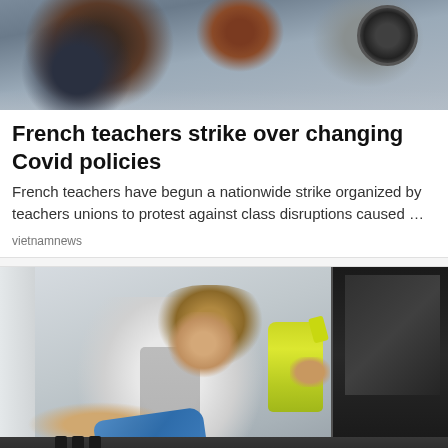[Figure (photo): Two people outdoors in winter clothing, one appears to be crying or covering face, photo at top of news article]
French teachers strike over changing Covid policies
French teachers have begun a nationwide strike organized by teachers unions to protest against class disruptions caused …
vietnamnews
[Figure (photo): Man wearing white t-shirt and apron cleaning a dark countertop surface with a blue cloth in one hand and a yellow spray bottle in the other hand, in a modern kitchen setting]